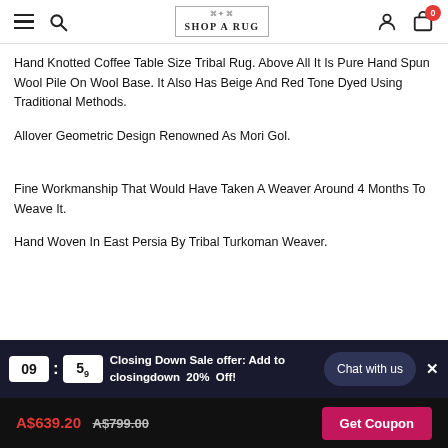SHOP A RUG
Hand Knotted Coffee Table Size Tribal Rug. Above All It Is Pure Hand Spun Wool Pile On Wool Base. It Also Has Beige And Red Tone Dyed Using Traditional Methods.
Allover Geometric Design Renowned As Mori Gol.
Fine Workmanship That Would Have Taken A Weaver Around 4 Months To Weave It.
Hand Woven In East Persia By Tribal Turkoman Weaver.
Closing Down Sale offer: Add to closingdown 20% Off!
A$639.20 A$799.00 Get Coupon